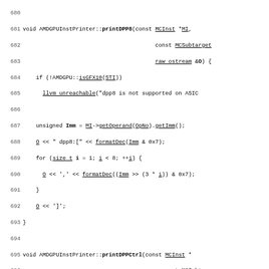Source code listing lines 680-709 of AMDGPUInstPrinter.cpp showing printDPP8 and printDPPCtrl functions